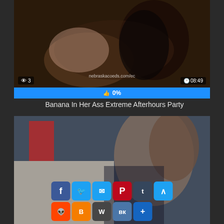[Figure (screenshot): Video thumbnail showing two people, dark background. Views: 3, duration: 08:49]
👁 3   nebraskacoeds.com/ec   🕐 08:49
👍 0%
Banana In Her Ass Extreme Afterhours Party
[Figure (screenshot): Second video thumbnail with social sharing buttons overlay: Facebook, Twitter, Email, Pinterest, Tumblr, scroll-to-top, Reddit, Blogger, WordPress, VK, More]